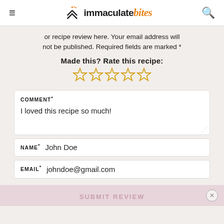immaculate bites
or recipe review here. Your email address will not be published. Required fields are marked *
Made this? Rate this recipe:
[Figure (other): Five empty star rating icons in orange/gold outline]
COMMENT* — I loved this recipe so much!
NAME* — John Doe
EMAIL* — johndoe@gmail.com
SUBMIT REVIEW